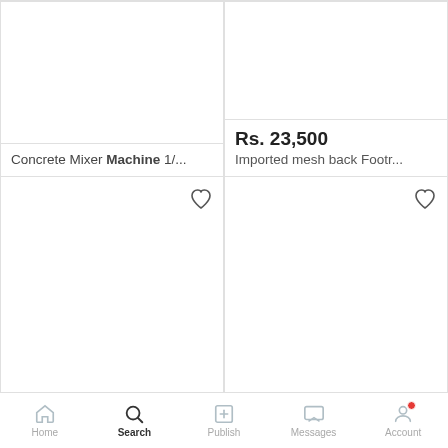Concrete Mixer Machine 1/...
Rs. 23,500
Imported mesh back Footr...
[Figure (screenshot): Product listing card for Bag Closer Machine with heart/favorite icon, white image area]
Bag Closer Machine
[Figure (screenshot): Product listing card for Power Float Concrete Finis... with heart/favorite icon, white image area]
Power Float Concrete Finis...
Home  Search  Publish  Messages  Account